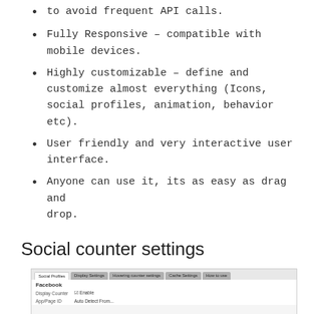to avoid frequent API calls.
Fully Responsive – compatible with mobile devices.
Highly customizable – define and customize almost everything (Icons, social profiles, animation, behavior etc).
User friendly and very interactive user interface.
Anyone can use it, its as easy as drag and drop.
Social counter settings
[Figure (screenshot): Screenshot of Social counter settings panel with tabs: Social Profiles, Display Settings, Hovering counter settings, Cache Settings, How to use. Shows Facebook section with Display Counter and App/Page ID fields.]